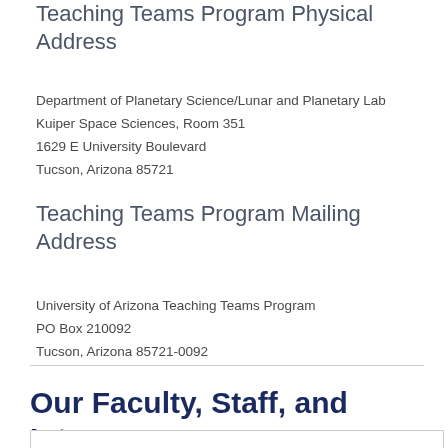Teaching Teams Program Physical Address
Department of Planetary Science/Lunar and Planetary Lab
Kuiper Space Sciences, Room 351
1629 E University Boulevard
Tucson, Arizona 85721
Teaching Teams Program Mailing Address
University of Arizona Teaching Teams Program
PO Box 210092
Tucson, Arizona 85721-0092
Our Faculty, Staff, and Interns